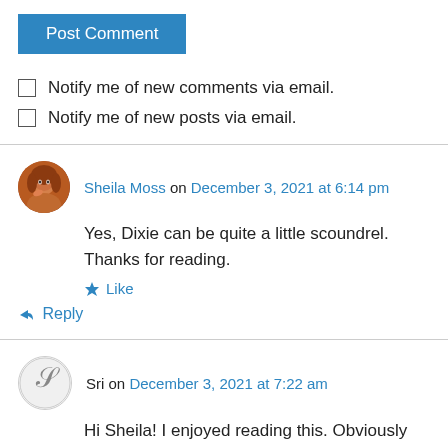Post Comment
Notify me of new comments via email.
Notify me of new posts via email.
Sheila Moss on December 3, 2021 at 6:14 pm
Yes, Dixie can be quite a little scoundrel. Thanks for reading.
Like
Reply
Sri on December 3, 2021 at 7:22 am
Hi Sheila! I enjoyed reading this. Obviously he